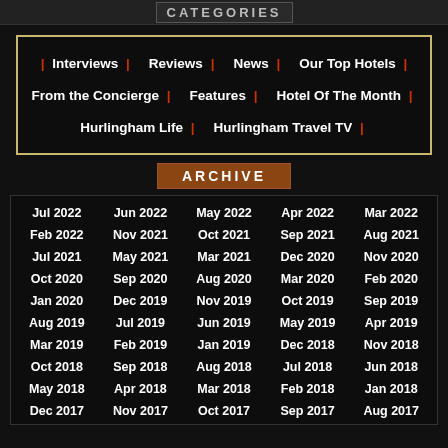CATEGORIES
| Interviews | Reviews | News | Our Top Hotels | From the Concierge | Features | Hotel Of The Month | Hurlingham Life | Hurlingham Travel TV |
ARCHIVE
| Jul 2022 | Jun 2022 | May 2022 | Apr 2022 | Mar 2022 |
| Feb 2022 | Nov 2021 | Oct 2021 | Sep 2021 | Aug 2021 |
| Jul 2021 | May 2021 | Mar 2021 | Dec 2020 | Nov 2020 |
| Oct 2020 | Sep 2020 | Aug 2020 | Mar 2020 | Feb 2020 |
| Jan 2020 | Dec 2019 | Nov 2019 | Oct 2019 | Sep 2019 |
| Aug 2019 | Jul 2019 | Jun 2019 | May 2019 | Apr 2019 |
| Mar 2019 | Feb 2019 | Jan 2019 | Dec 2018 | Nov 2018 |
| Oct 2018 | Sep 2018 | Aug 2018 | Jul 2018 | Jun 2018 |
| May 2018 | Apr 2018 | Mar 2018 | Feb 2018 | Jan 2018 |
| Dec 2017 | Nov 2017 | Oct 2017 | Sep 2017 | Aug 2017 |